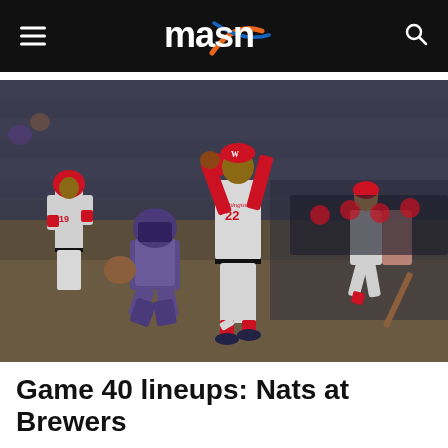masn
[Figure (photo): Washington Nationals player #22 reacting at home plate after a play, with the opposing team's catcher kneeling on the ground and teammates visible in background at a baseball stadium.]
Game 40 lineups: Nats at Brewers